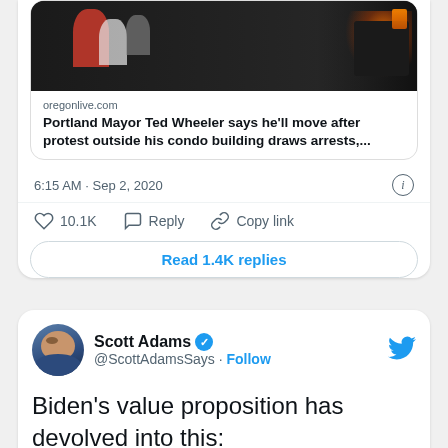[Figure (screenshot): Partial tweet card showing protest photo and link preview for oregonlive.com article about Portland Mayor Ted Wheeler]
oregonlive.com
Portland Mayor Ted Wheeler says he'll move after protest outside his condo building draws arrests,...
6:15 AM · Sep 2, 2020
10.1K  Reply  Copy link
Read 1.4K replies
[Figure (screenshot): Tweet from Scott Adams (@ScottAdamsSays) with verified badge and Follow link. Tweet text: Biden's value proposition has devolved into this:]